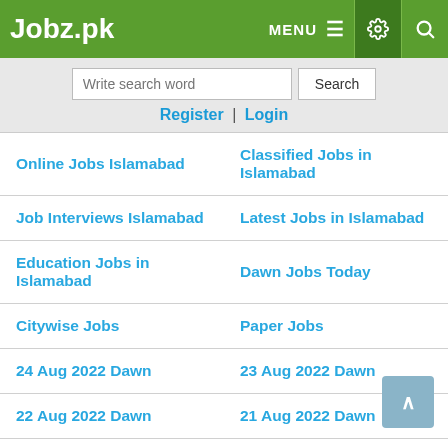Jobz.pk
Write search word | Search
Register | Login
Online Jobs Islamabad
Classified Jobs in Islamabad
Job Interviews Islamabad
Latest Jobs in Islamabad
Education Jobs in Islamabad
Dawn Jobs Today
Citywise Jobs
Paper Jobs
24 Aug 2022 Dawn
23 Aug 2022 Dawn
22 Aug 2022 Dawn
21 Aug 2022 Dawn
Master Jobs in Islamabad
Mphil Jobs in Islamabad